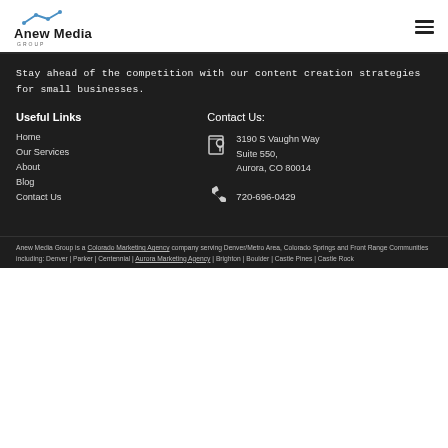Anew Media Group
Stay ahead of the competition with our content creation strategies for small businesses.
Useful Links
Contact Us:
Home
Our Services
About
Blog
Contact Us
3190 S Vaughn Way Suite 550, Aurora, CO 80014
720-696-0429
Anew Media Group is a Colorado Marketing Agency company serving Denver/Metro Area, Colorado Springs and Front Range Communities including: Denver | Parker | Centennial | Aurora Marketing Agency | Brighton | Boulder | Castle Pines | Castle Rock